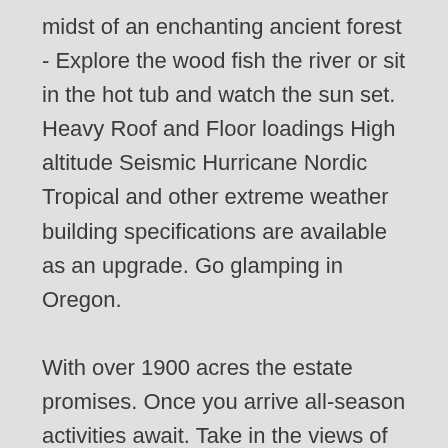midst of an enchanting ancient forest - Explore the wood fish the river or sit in the hot tub and watch the sun set. Heavy Roof and Floor loadings High altitude Seismic Hurricane Nordic Tropical and other extreme weather building specifications are available as an upgrade. Go glamping in Oregon.
With over 1900 acres the estate promises. Once you arrive all-season activities await. Take in the views of wide-open high-desert spaces and look for constellations in.
Ask your Representative for details. Its all in your construction and insulation. The Lincoln Log Cabin is a spacious 3600 sq.
Theyre an invitation to slow down commune with nature and devote time to the most important people in your